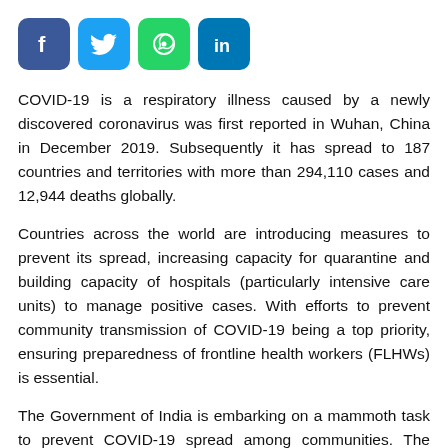[Figure (other): Social media sharing icons: Facebook (blue), Twitter (light blue), WhatsApp (green), LinkedIn (blue)]
COVID-19 is a respiratory illness caused by a newly discovered coronavirus was first reported in Wuhan, China in December 2019. Subsequently it has spread to 187 countries and territories with more than 294,110 cases and 12,944 deaths globally.
Countries across the world are introducing measures to prevent its spread, increasing capacity for quarantine and building capacity of hospitals (particularly intensive care units) to manage positive cases. With efforts to prevent community transmission of COVID-19 being a top priority, ensuring preparedness of frontline health workers (FLHWs) is essential.
The Government of India is embarking on a mammoth task to prevent COVID-19 spread among communities. The Rapid Evidence Synthesis team received a request to support the planning and development of resources for ensuring preparedness of FLHWs for COVID-19 . The rapid evidence synthesis was conducted in a period of three days.